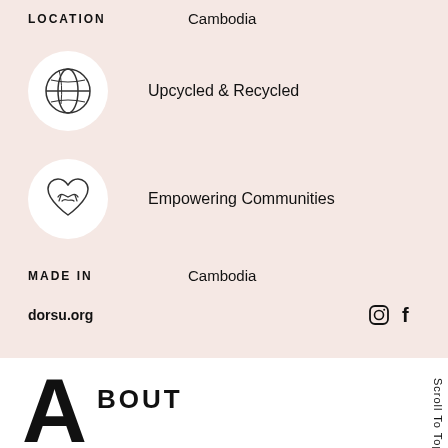LOCATION   Cambodia
[Figure (illustration): Globe icon in white circle representing Upcycled & Recycled]
Upcycled & Recycled
[Figure (illustration): Heart with handshake icon in white circle representing Empowering Communities]
Empowering Communities
MADE IN   Cambodia
dorsu.org
ABOUT
Based in Cambodia, Dorsu is an ethical brand that believes in transparency and strives for a fairer fashion industry. They create capsule wardrobe essentials from soft, permanent cotton jersey